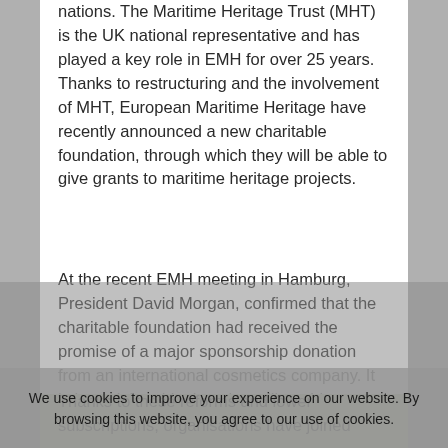nations. The Maritime Heritage Trust (MHT) is the UK national representative and has played a key role in EMH for over 25 years. Thanks to restructuring and the involvement of MHT, European Maritime Heritage have recently announced a new charitable foundation, through which they will be able to give grants to maritime heritage projects.
At the recent EMH meeting in Hamburg, President David Morgan, confirmed that the charitable foundation had received the promise of a major sponsorship donation from an international cosmetics company. It is hoped that this donation will enable grants to begin later in 2020. In particular, the Foundation will support projects which tackle social disadvantage while preserving maritime heritage.
Thanks to these reforms and lower subscriptions, organisations have joined
We use cookies to improve your experience on our website. By browsing this website, you agree to our use of cookies.